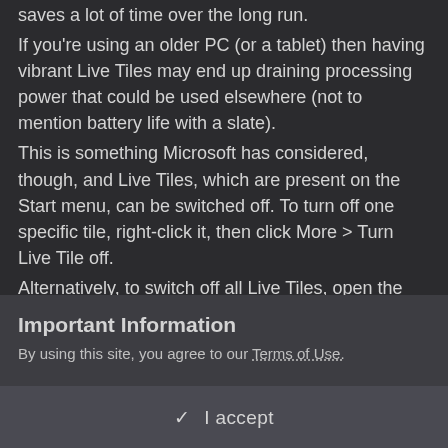saves a lot of time over the long run. If you're using an older PC (or a tablet) then having vibrant Live Tiles may end up draining processing power that could be used elsewhere (not to mention battery life with a slate). This is something Microsoft has considered, though, and Live Tiles, which are present on the Start menu, can be switched off. To turn off one specific tile, right-click it, then click More > Turn Live Tile off. Alternatively, to switch off all Live Tiles, open the Start menu, and type the following, then hit enter: gpedit.msc Navigate to Local Computer Policy > User Configuration > Administrative Templates > Start Menu and Taskbar > Notifications. Double-click the 'Turn off tile notifications' entry on the right and
Important Information
By using this site, you agree to our Terms of Use.
✓  I accept